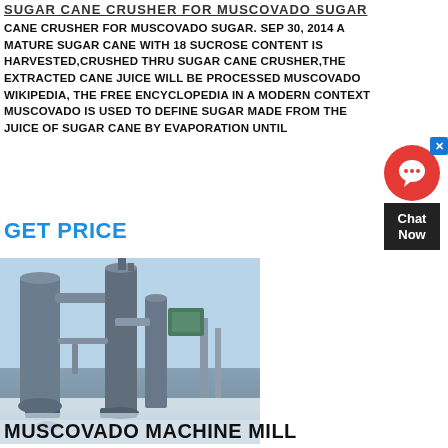SUGAR CANE CRUSHER FOR MUSCOVADO SUGAR
CANE CRUSHER FOR MUSCOVADO SUGAR. SEP 30, 2014 A MATURE SUGAR CANE WITH 18 SUCROSE CONTENT IS HARVESTED,CRUSHED THRU SUGAR CANE CRUSHER,THE EXTRACTED CANE JUICE WILL BE PROCESSED MUSCOVADO WIKIPEDIA, THE FREE ENCYCLOPEDIA IN A MODERN CONTEXT MUSCOVADO IS USED TO DEFINE SUGAR MADE FROM THE JUICE OF SUGAR CANE BY EVAPORATION UNTIL
GET PRICE
[Figure (photo): Industrial milling machinery (sugar cane crusher equipment) photographed outdoors in winter, featuring large cylindrical processing towers, pipes, and conveyors on a snowy ground with blue sky background.]
MUSCOVADO MACHINE MILL